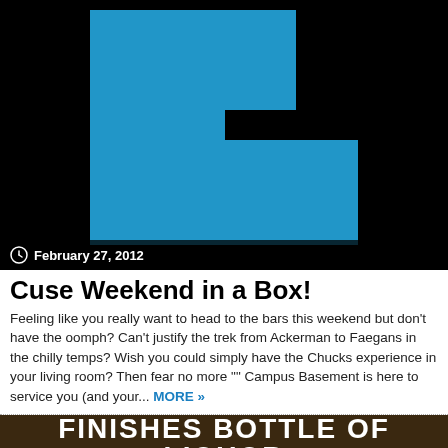[Figure (logo): Flipboard logo — blue stylized 'F' shape on black background]
February 27, 2012
Cuse Weekend in a Box!
Feeling like you really want to head to the bars this weekend but don't have the oomph? Can't justify the trek from Ackerman to Faegans in the chilly temps? Wish you could simply have the Chucks experience in your living room? Then fear no more "" Campus Basement is here to service you (and your... MORE »
[Figure (photo): Bottom image showing crowd scene with text overlay: FINISHES BOTTLE OF LIQUOR]